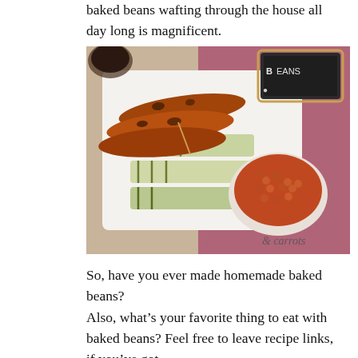baked beans wafting through the house all day long is magnificent.
[Figure (photo): Overhead photo of grilled sausages and sliced zucchini on a white cutting board with a bowl of baked beans and a chalkboard sign reading 'BEANS' in the background. Watermark reads '& carrots'.]
So, have you ever made homemade baked beans?
Also, what’s your favorite thing to eat with baked beans? Feel free to leave recipe links, if you’ve got